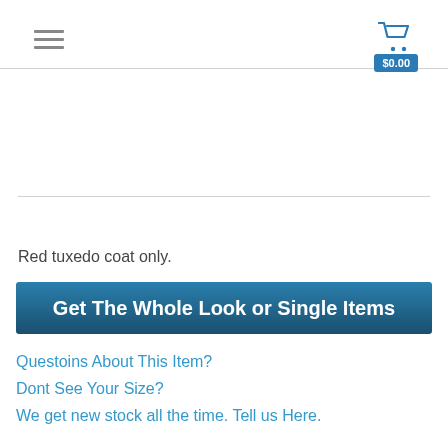☰  $0.00
Red tuxedo coat only.
Get The Whole Look or Single Items
Questoins About This Item?
Dont See Your Size?
We get new stock all the time. Tell us Here.